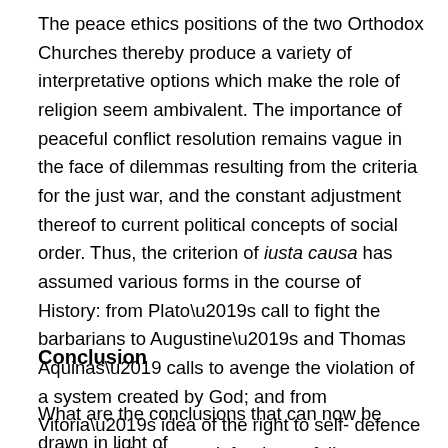The peace ethics positions of the two Orthodox Churches thereby produce a variety of interpretative options which make the role of religion seem ambivalent. The importance of peaceful conflict resolution remains vague in the face of dilemmas resulting from the criteria for the just war, and the constant adjustment thereof to current political concepts of social order. Thus, the criterion of iusta causa has assumed various forms in the course of History: from Plato’s call to fight the barbarians to Augustine’s and Thomas Aquinas’ calls to avenge the violation of a system created by God; and from Vitoria’s idea of the right to self-defence and the obligation to defend your fellow man to the protection of human rights in contemporary debate.
Conclusion
What are the conclusions that can now be drawn in light of